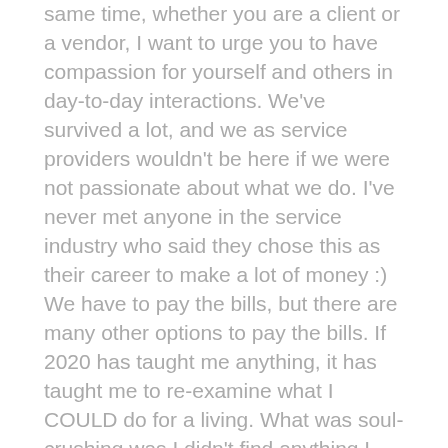same time, whether you are a client or a vendor, I want to urge you to have compassion for yourself and others in day-to-day interactions.  We've survived a lot, and we as service providers wouldn't be here if we were not passionate about what we do.  I've never met anyone in the service industry who said they chose this as their career to make a lot of money :)  We have to pay the bills, but there are many other options to pay the bills.  If 2020 has taught me anything, it has taught me to re-examine what I COULD do for a living.  What was soul-crushing was I didn't find anything I really WANT to do for a living.
If your client OR your vendor(s) are taking a little longer to get back to you, please kindly follow up and be patient and compassionate for your fellow human who is probably inundated with emails, texts and voicemails to